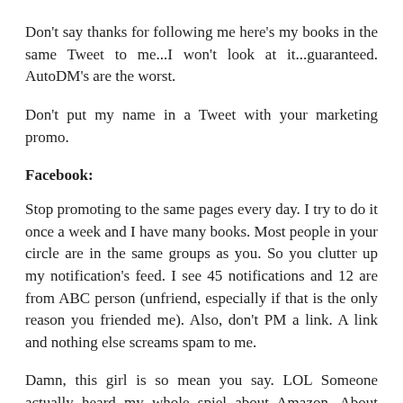Don't say thanks for following me here's my books in the same Tweet to me...I won't look at it...guaranteed. AutoDM's are the worst.
Don't put my name in a Tweet with your marketing promo.
Facebook:
Stop promoting to the same pages every day. I try to do it once a week and I have many books. Most people in your circle are in the same groups as you. So you clutter up my notification's feed. I see 45 notifications and 12 are from ABC person (unfriend, especially if that is the only reason you friended me). Also, don't PM a link. A link and nothing else screams spam to me.
Damn, this girl is so mean you say. LOL Someone actually heard my whole spiel about Amazon. About certain